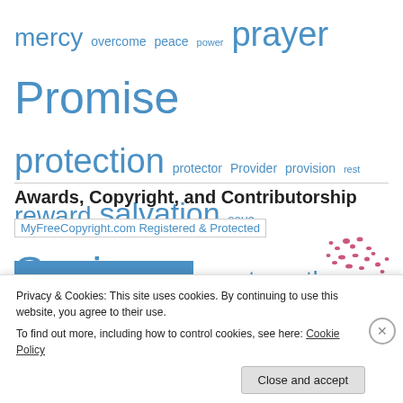mercy overcome peace power prayer Promise protection protector Provider provision rest reward salvation save Savior sin soul strength struggles trials trust victory wisdom work Yahweh Yeshua
Awards, Copyright, and Contributorship
[Figure (other): MyFreeCopyright.com Registered & Protected badge/image placeholder]
[Figure (illustration): Butterfly cluster illustration in pink/magenta]
[Figure (screenshot): Award box with blue border]
Privacy & Cookies: This site uses cookies. By continuing to use this website, you agree to their use.
To find out more, including how to control cookies, see here: Cookie Policy
Close and accept